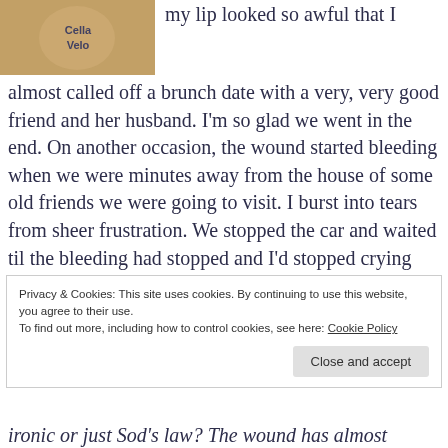[Figure (photo): Photo of a CellaVelo branded bottle or item with golden/amber tones]
my lip looked so awful that I almost called off a brunch date with a very, very good friend and her husband. I'm so glad we went in the end. On another occasion, the wound started bleeding when we were minutes away from the house of some old friends we were going to visit. I burst into tears from sheer frustration. We stopped the car and waited til the bleeding had stopped and I'd stopped crying before continuing.
Privacy & Cookies: This site uses cookies. By continuing to use this website, you agree to their use.
To find out more, including how to control cookies, see here: Cookie Policy
Close and accept
ironic or just Sod's law? The wound has almost